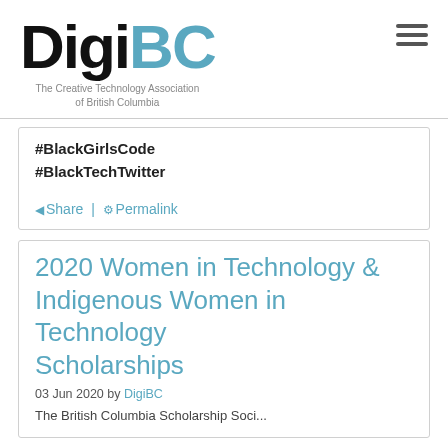[Figure (logo): DigiBC logo — 'Digi' in black bold, 'BC' in steel blue bold, subtitle 'The Creative Technology Association of British Columbia']
#BlackGirlsCode
#BlackTechTwitter
Share | Permalink
2020 Women in Technology & Indigenous Women in Technology Scholarships
03 Jun 2020 by DigiBC
The British Columbia Scholarship Society is...